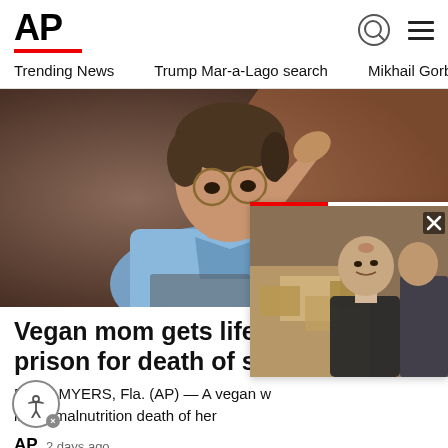[Figure (logo): AP logo with red underline bar]
Trending News   Trump Mar-a-Lago search   Mikhail Gorbachev d
[Figure (photo): Woman with short hair and glasses, resting hand on forehead, wearing a light blue shirt, in courtroom setting]
Vegan mom gets life in prison for death of son
FORT MYERS, Fla. (AP) — A vegan w... in the malnutrition death of her...
AP  2 days ago
[Figure (photo): Secondary overlay popup photo showing elderly man (Mikhail Gorbachev) in suit with others, with red bar at top and X close button]